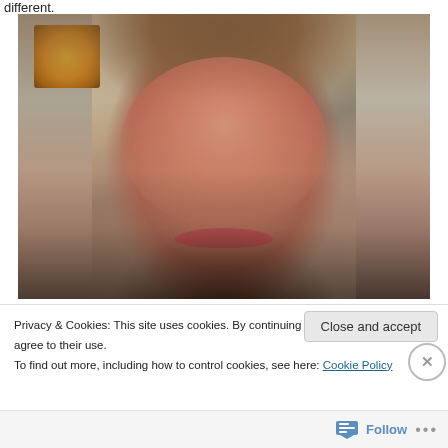different.
[Figure (photo): Close-up selfie photo of a woman with brown hair and bangs, wearing red lipstick, smiling at the camera. Room background visible with artwork on wall.]
Privacy & Cookies: This site uses cookies. By continuing to use this website, you agree to their use.
To find out more, including how to control cookies, see here: Cookie Policy
Close and accept
Follow